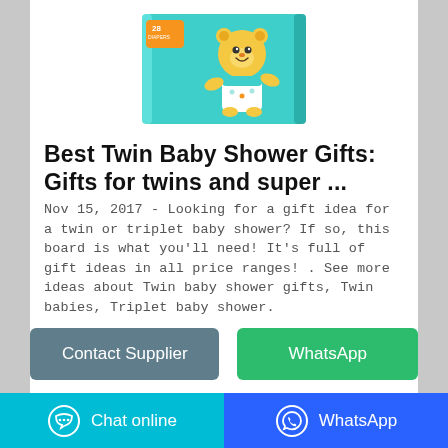[Figure (photo): Product image of a twin baby diaper pack with cartoon bear mascot, teal/turquoise packaging, showing '28' count]
Best Twin Baby Shower Gifts: Gifts for twins and super ...
Nov 15, 2017 - Looking for a gift idea for a twin or triplet baby shower? If so, this board is what you'll need! It's full of gift ideas in all price ranges! . See more ideas about Twin baby shower gifts, Twin babies, Triplet baby shower.
Contact Supplier
WhatsApp
Chat online   WhatsApp